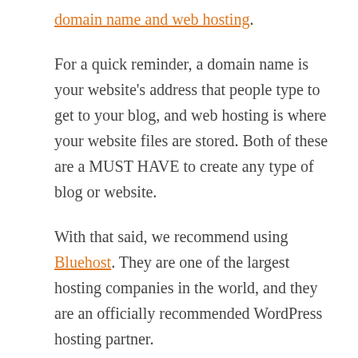domain name and web hosting.
For a quick reminder, a domain name is your website's address that people type to get to your blog, and web hosting is where your website files are stored. Both of these are a MUST HAVE to create any type of blog or website.
With that said, we recommend using Bluehost. They are one of the largest hosting companies in the world, and they are an officially recommended WordPress hosting partner.
Because WPBeginner is the largest WordPress resource site, they have agreed to offer our readers a free domain name and a 60% discount on hosting. Basically, you can get started for just $2.75 per